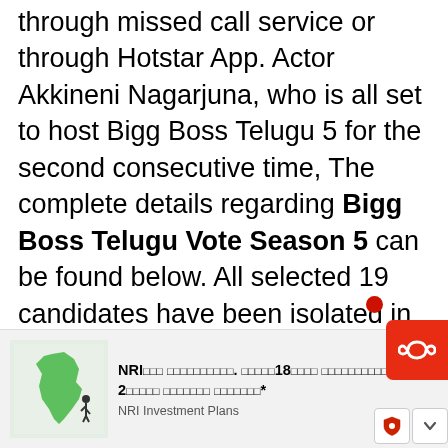through missed call service or through Hotstar App. Actor Akkineni Nagarjuna, who is all set to host Bigg Boss Telugu 5 for the second consecutive time, The complete details regarding Bigg Boss Telugu Vote Season 5 can be found below. All selected 19 candidates have been isolated in a separate house in Hydera... days an... th 60 came... /ers... can register vote by two methods Online
[Figure (photo): Advertisement popup overlay showing a person in a white dress with text 'Naomi Was Discovered In London At Age 15: Now The Model Is 52' with Sponsored label]
[Figure (photo): Bottom advertisement banner for NRI Investment Plans featuring India map illustration with text in Telugu script and 'NRI Investment Plans' label]